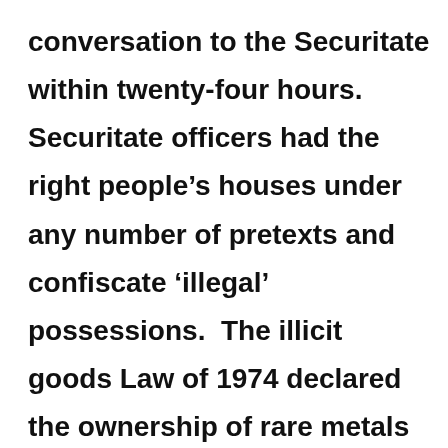conversation to the Securitate within twenty-four hours. Securitate officers had the right people's houses under any number of pretexts and confiscate 'illegal' possessions.  The illicit goods Law of 1974 declared the ownership of rare metals and precious stones a state monopoly. A supposed shortage